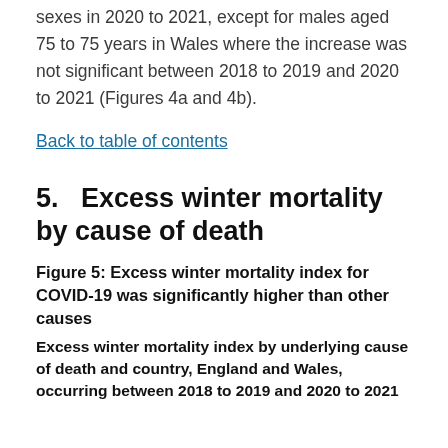sexes in 2020 to 2021, except for males aged 75 to 75 years in Wales where the increase was not significant between 2018 to 2019 and 2020 to 2021 (Figures 4a and 4b).
Back to table of contents
5.   Excess winter mortality by cause of death
Figure 5: Excess winter mortality index for COVID-19 was significantly higher than other causes
Excess winter mortality index by underlying cause of death and country, England and Wales, occurring between 2018 to 2019 and 2020 to 2021